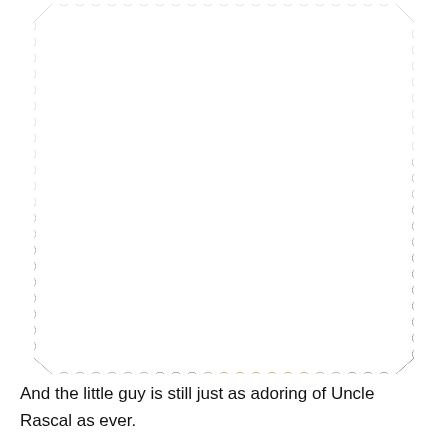[Figure (photo): Photograph of two dogs outdoors — a larger tan/brown dog (Uncle Rascal) and a smaller black-and-white puppy that is nuzzling against Rascal. The photo is framed with a decorative stamp/postage-stamp scalloped white border. Overlaid on the photo are: a thought-bubble with text 'likes so much ...', a red heart doodle in the top-right corner, red circle doodle near the collar area, a red heart/spiral doodle in the lower left, and purple bold italic text reading 'Uncle Rascal ponders puppy's adoration'.]
And the little guy is still just as adoring of Uncle Rascal as ever.